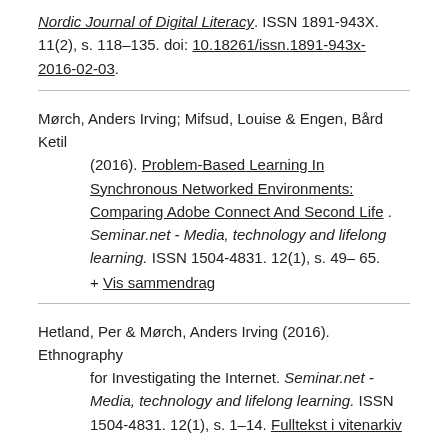Nordic Journal of Digital Literacy. ISSN 1891-943X. 11(2), s. 118–135. doi: 10.18261/issn.1891-943x-2016-02-03.
Mørch, Anders Irving; Mifsud, Louise & Engen, Bård Ketil (2016). Problem-Based Learning In Synchronous Networked Environments: Comparing Adobe Connect And Second Life . Seminar.net - Media, technology and lifelong learning. ISSN 1504-4831. 12(1), s. 49–65.
+ Vis sammendrag
Hetland, Per & Mørch, Anders Irving (2016). Ethnography for Investigating the Internet. Seminar.net - Media, technology and lifelong learning. ISSN 1504-4831. 12(1), s. 1–14. Fulltekst i vitenarkiv